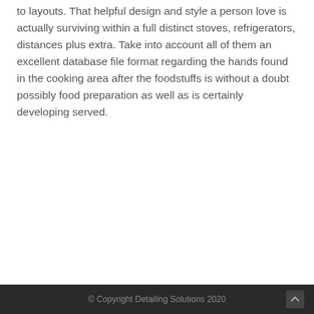to layouts. That helpful design and style a person love is actually surviving within a full distinct stoves, refrigerators, distances plus extra. Take into account all of them an excellent database file format regarding the hands found in the cooking area after the foodstuffs is without a doubt possibly food preparation as well as is certainly developing served.
© Copyright Detailing Solutions 2020